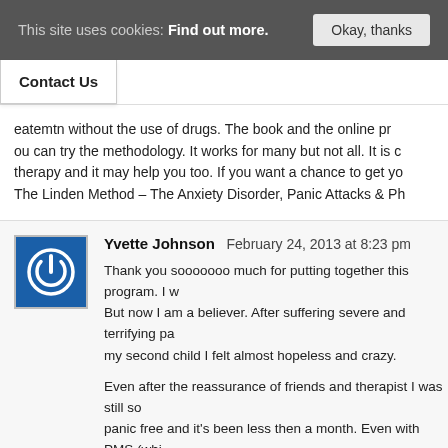This site uses cookies: Find out more. Okay, thanks
Contact Us
eatemtn without the use of drugs. The book and the online pro ou can try the methodology. It works for many but not all. It is c therapy and it may help you too. If you want a chance to get yo The Linden Method – The Anxiety Disorder, Panic Attacks & Ph
Yvette Johnson  February 24, 2013 at 8:23 pm

Thank you sooooooo much for putting together this program. I w But now I am a believer. After suffering severe and terrifying pa my second child I felt almost hopeless and crazy.

Even after the reassurance of friends and therapist I was still so panic free and it's been less then a month. Even with PMS (whi am doing just fine. Thank you from the bottom of my heart.

I will tell everyone I know who has ever suffered… about you ar

Love and light,

Yvette